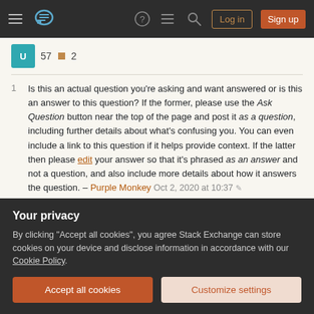Stack Exchange navigation bar with hamburger menu, logo, help, chat, search icons, Log in and Sign up buttons
57 ● 2
1  Is this an actual question you're asking and want answered or is this an answer to this question? If the former, please use the Ask Question button near the top of the page and post it as a question, including further details about what's confusing you. You can even include a link to this question if it helps provide context. If the latter then please edit your answer so that it's phrased as an answer and not a question, and also include more details about how it answers the question. – Purple Monkey Oct 2, 2020 at 10:37 ✎
@OttoMaroske - Hi Otto, thanks for the answer. It might be
Your privacy
By clicking "Accept all cookies", you agree Stack Exchange can store cookies on your device and disclose information in accordance with our Cookie Policy.
Accept all cookies
Customize settings
11:03